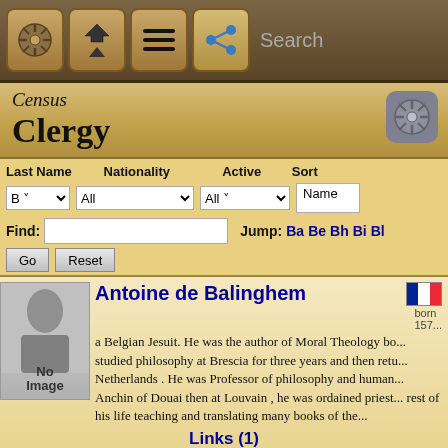[Figure (screenshot): App toolbar with navigation icons: ship wheel, home/up arrow, hamburger menu, share icon, and Search field]
Census
Clergy
[Figure (screenshot): Search/filter controls: Last Name dropdown 'B', Nationality dropdown 'All', Active dropdown 'All', Sort field 'Name'. Find field with Go and Reset buttons. Jump links: Ba Be Bh Bi Bl]
Antoine de Balinghem — a Belgian Jesuit. He was the author of Moral Theology bo... studied philosophy at Brescia for three years and then retu... Netherlands. He was Professor of philosophy and human... Anchin of Douai then at Louvain, he was ordained priest... rest of his life teaching and translating many books of the...
Links (1)
Cross-listed in Writers
Istvan Baller